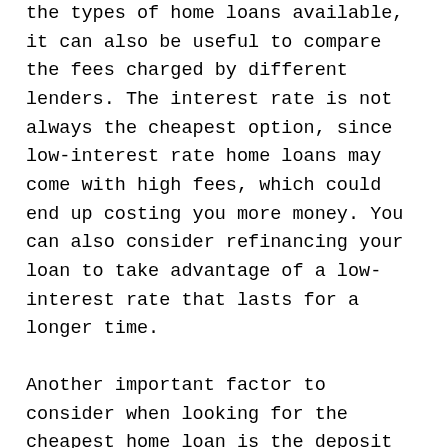the types of home loans available, it can also be useful to compare the fees charged by different lenders. The interest rate is not always the cheapest option, since low-interest rate home loans may come with high fees, which could end up costing you more money. You can also consider refinancing your loan to take advantage of a low-interest rate that lasts for a longer time.
Another important factor to consider when looking for the cheapest home loan is the deposit amount. The lower your loan-to-value ratio, the cheaper your mortgage will be.
By saving 20% of your loan amount, you will be